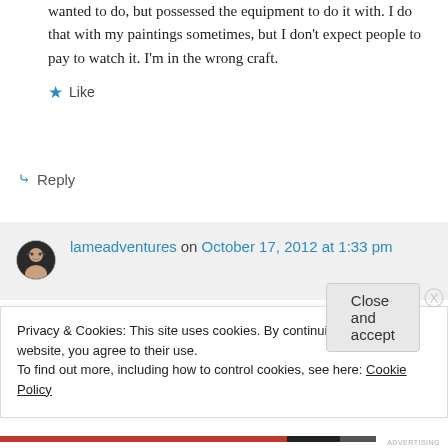wanted to do, but possessed the equipment to do it with. I do that with my paintings sometimes, but I don't expect people to pay to watch it. I'm in the wrong craft.
★ Like
↳ Reply
lameadventures on October 17, 2012 at 1:33 pm
Privacy & Cookies: This site uses cookies. By continuing to use this website, you agree to their use.
To find out more, including how to control cookies, see here: Cookie Policy
Close and accept